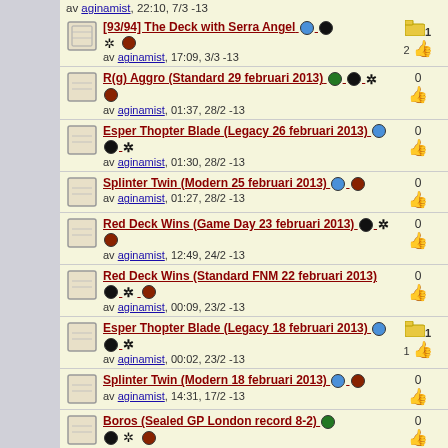av aginamist, 22:10, 7/3 -13
[93/94] The Deck with Serra Angel — av aginamist, 17:09, 3/3 -13 — votes: 1 folder, 2 thumbs
R(g) Aggro (Standard 29 februari 2013) — av aginamist, 01:37, 28/2 -13 — 0 votes
Esper Thopter Blade (Legacy 26 februari 2013) — av aginamist, 01:30, 28/2 -13 — 0 votes
Splinter Twin (Modern 25 februari 2013) — av aginamist, 01:27, 28/2 -13 — 0 votes
Red Deck Wins (Game Day 23 februari 2013) — av aginamist, 12:49, 24/2 -13 — 0 votes
Red Deck Wins (Standard FNM 22 februari 2013) — av aginamist, 00:09, 23/2 -13 — 0 votes
Esper Thopter Blade (Legacy 18 februari 2013) — av aginamist, 00:02, 23/2 -13 — votes: 1 folder, 1 thumb
Splinter Twin (Modern 18 februari 2013) — av aginamist, 14:31, 17/2 -13 — 0 votes
Boros (Sealed GP London record 8-2) — av aginamist, 00:11, 12/2 -13 — 0 votes
Belcher (Legacy 5 februari 2013) — av aginamist, 22:55, 5/2 -13 — votes: 3 folder, 1 thumb